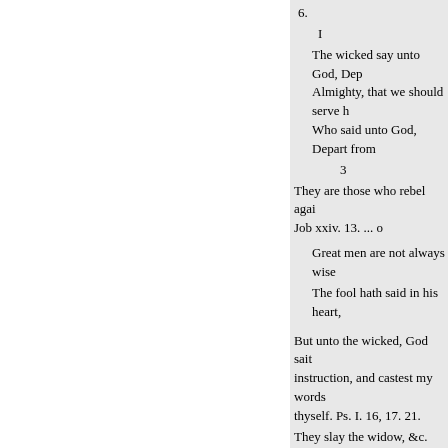6.
I
The wicked say unto God, Dep… Almighty, that we should serve h… Who said unto God, Depart from…
3
They are those who rebel agai… Job xxiv. 13. ... o
Great men are not always wise…
The fool hath said in his heart,…
But unto the wicked, God sait… instruction, and castest my words… thyself. Ps. I. 16, 17. 21.
They slay the widow, &c. yet t… Understand, O yé brutish, &c. H…
Evil men understand not judgme…
The ox knoweth his owner, an…
Isa. i. 3..